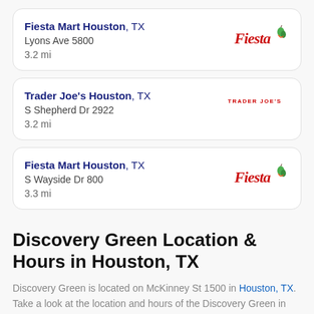Fiesta Mart Houston, TX
Lyons Ave 5800
3.2 mi
[Figure (logo): Fiesta Mart logo]
Trader Joe's Houston, TX
S Shepherd Dr 2922
3.2 mi
[Figure (logo): Trader Joe's logo]
Fiesta Mart Houston, TX
S Wayside Dr 800
3.3 mi
[Figure (logo): Fiesta Mart logo]
Discovery Green Location & Hours in Houston, TX
Discovery Green is located on McKinney St 1500 in Houston, TX. Take a look at the location and hours of the Discovery Green in